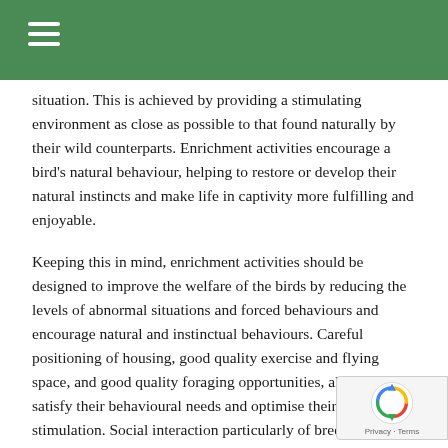situation. This is achieved by providing a stimulating environment as close as possible to that found naturally by their wild counterparts. Enrichment activities encourage a bird's natural behaviour, helping to restore or develop their natural instincts and make life in captivity more fulfilling and enjoyable.
Keeping this in mind, enrichment activities should be designed to improve the welfare of the birds by reducing the levels of abnormal situations and forced behaviours and encourage natural and instinctual behaviours. Careful positioning of housing, good quality exercise and flying space, and good quality foraging opportunities, all help to satisfy their behavioural needs and optimise their levels of stimulation. Social interaction particularly of breeding pairs is one way of providing greater enrichment when they are not breeding, and helps to promote the normal development of offspring.
Read more in the magazine…